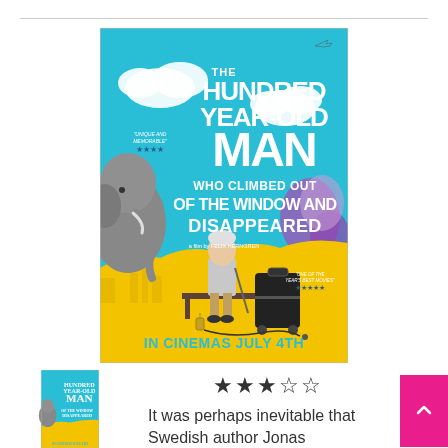[Figure (illustration): Movie poster for 'The Hundred-Year-Old Man Who Climbed Out of the Window and Disappeared'. Teal/blue background with white bold title text, yellow bottom section with old man sitting on bench with suitcase, elephant on left, purple trees on right. Text reads 'IN CINEMAS JULY 4TH'. Reviews: 'Unique and Memorable' 4 stars, 'One of the Year's Best Movies' 5 stars.]
[Figure (illustration): Small thumbnail of the same movie poster in bottom left corner.]
★★★☆☆
It was perhaps inevitable that Swedish author Jonas Jonasson's